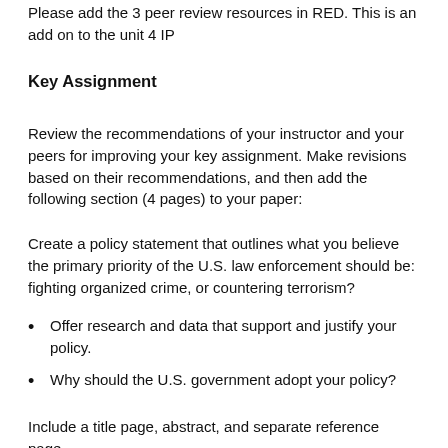Please add the 3 peer review resources in RED. This is an add on to the unit 4 IP
Key Assignment
Review the recommendations of your instructor and your peers for improving your key assignment. Make revisions based on their recommendations, and then add the following section (4 pages) to your paper:
Create a policy statement that outlines what you believe the primary priority of the U.S. law enforcement should be: fighting organized crime, or countering terrorism?
Offer research and data that support and justify your policy.
Why should the U.S. government adopt your policy?
Include a title page, abstract, and separate reference page.